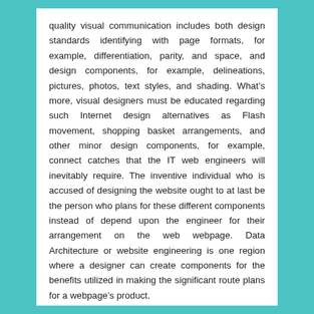quality visual communication includes both design standards identifying with page formats, for example, differentiation, parity, and space, and design components, for example, delineations, pictures, photos, text styles, and shading. What’s more, visual designers must be educated regarding such Internet design alternatives as Flash movement, shopping basket arrangements, and other minor design components, for example, connect catches that the IT web engineers will inevitably require. The inventive individual who is accused of designing the website ought to at last be the person who plans for these different components instead of depend upon the engineer for their arrangement on the web webpage. Data Architecture or website engineering is one region where a designer can create components for the benefits utilized in making the significant route plans for a webpage’s product.